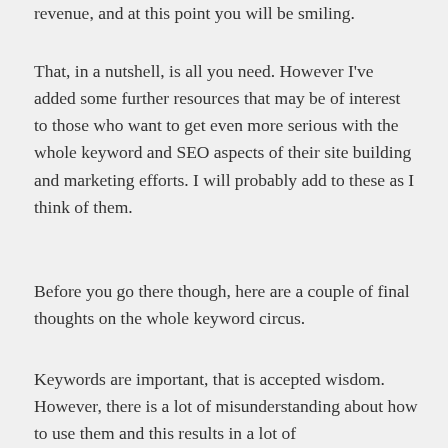revenue, and at this point you will be smiling.
That, in a nutshell, is all you need. However I've added some further resources that may be of interest to those who want to get even more serious with the whole keyword and SEO aspects of their site building and marketing efforts. I will probably add to these as I think of them.
Before you go there though, here are a couple of final thoughts on the whole keyword circus.
Keywords are important, that is accepted wisdom. However, there is a lot of misunderstanding about how to use them and this results in a lot of